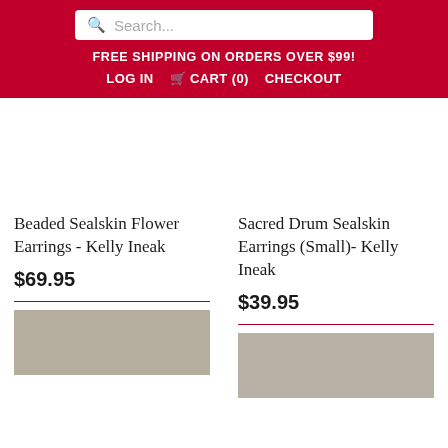Search...
FREE SHIPPING ON ORDERS OVER $99!
LOG IN  CART (0)  CHECKOUT
Beaded Sealskin Flower Earrings - Kelly Ineak
$69.95
Sacred Drum Sealskin Earrings (Small)- Kelly Ineak
$39.95
[Figure (photo): Product thumbnail image left]
[Figure (photo): Product thumbnail image right]